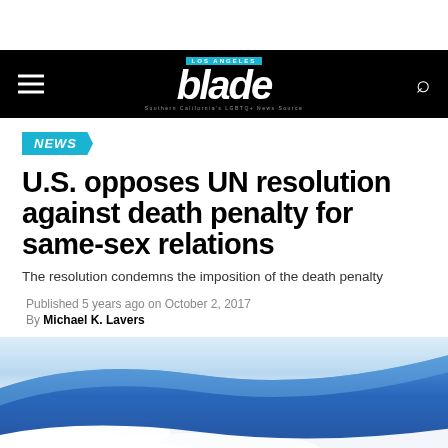Los Angeles Blade
NEWS
U.S. opposes UN resolution against death penalty for same-sex relations
The resolution condemns the imposition of the death penalty
Published 5 years ago on October 2, 2017
By Michael K. Lavers
[Figure (photo): Blue waving flag with clouds and sky in the background]